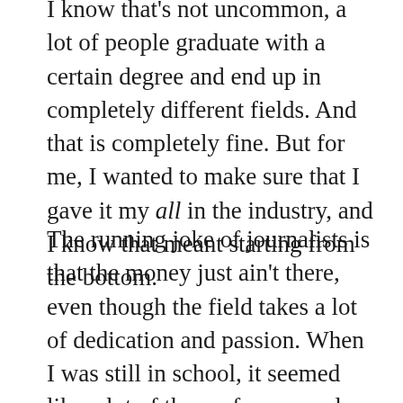I know that's not uncommon, a lot of people graduate with a certain degree and end up in completely different fields. And that is completely fine. But for me, I wanted to make sure that I gave it my all in the industry, and I know that meant starting from the bottom.
The running joke of journalists is that the money just ain't there, even though the field takes a lot of dedication and passion. When I was still in school, it seemed like a lot of the professors and professionals that came in to talk about their experience as journalists had to put work above personal life to be successful. This was always something that worried me because I always knew I wanted a family, but I also wanted to be successful in writing. It seemed ironic that the girl who is so